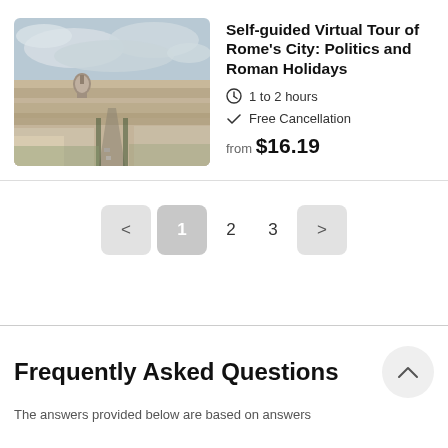[Figure (photo): Aerial view of Rome cityscape with St. Peter's Basilica dome visible in the distance, under a cloudy sky]
Self-guided Virtual Tour of Rome's City: Politics and Roman Holidays
1 to 2 hours
Free Cancellation
from $16.19
< 1 2 3 >
Frequently Asked Questions
The answers provided below are based on answers